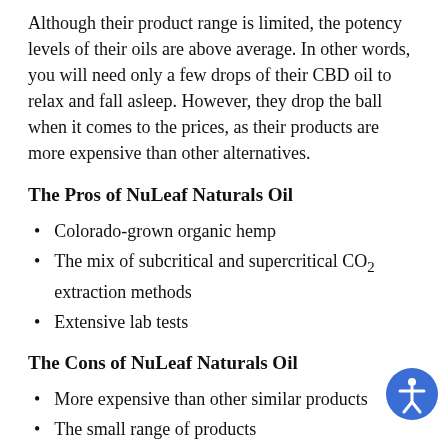Although their product range is limited, the potency levels of their oils are above average. In other words, you will need only a few drops of their CBD oil to relax and fall asleep. However, they drop the ball when it comes to the prices, as their products are more expensive than other alternatives.
The Pros of NuLeaf Naturals Oil
Colorado-grown organic hemp
The mix of subcritical and supercritical CO2 extraction methods
Extensive lab tests
The Cons of NuLeaf Naturals Oil
More expensive than other similar products
The small range of products